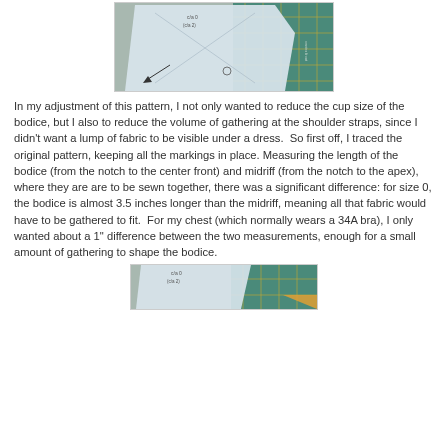[Figure (photo): Photo of a sewing pattern piece traced on blue/white tissue paper laid on a teal cutting mat with grid lines visible]
In my adjustment of this pattern, I not only wanted to reduce the cup size of the bodice, but I also to reduce the volume of gathering at the shoulder straps, since I didn't want a lump of fabric to be visible under a dress.  So first off, I traced the original pattern, keeping all the markings in place. Measuring the length of the bodice (from the notch to the center front) and midriff (from the notch to the apex), where they are are to be sewn together, there was a significant difference: for size 0, the bodice is almost 3.5 inches longer than the midriff, meaning all that fabric would have to be gathered to fit.  For my chest (which normally wears a 34A bra), I only wanted about a 1" difference between the two measurements, enough for a small amount of gathering to shape the bodice.
[Figure (photo): Partial photo of a sewing pattern on blue tissue paper on a teal cutting mat, cropped at the bottom of the page]